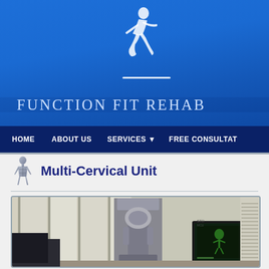[Figure (illustration): Running figure logo (white silhouette of a person running) on blue background, above the Function Fit Rehab text]
FUNCTION FIT REHAB
HOME   ABOUT US   SERVICES ▼   FREE CONSULTATION
Multi-Cervical Unit
[Figure (photo): Photo of a Multi-Cervical Unit rehabilitation machine in a gym/clinic room with large windows and blinds visible in the background. A computer monitor is visible to the right.]